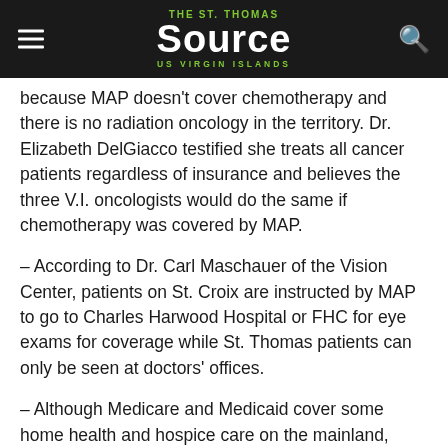THE St. Thomas Source — US VIRGIN ISLANDS
because MAP doesn't cover chemotherapy and there is no radiation oncology in the territory. Dr. Elizabeth DelGiacco testified she treats all cancer patients regardless of insurance and believes the three V.I. oncologists would do the same if chemotherapy was covered by MAP.
– According to Dr. Carl Maschauer of the Vision Center, patients on St. Croix are instructed by MAP to go to Charles Harwood Hospital or FHC for eye exams for coverage while St. Thomas patients can only be seen at doctors' offices.
– Although Medicare and Medicaid cover some home health and hospice care on the mainland, Tracy Sanders of Continuum Care said her company cannot continue to carry the full load and provide uncompensated care indefinitely.